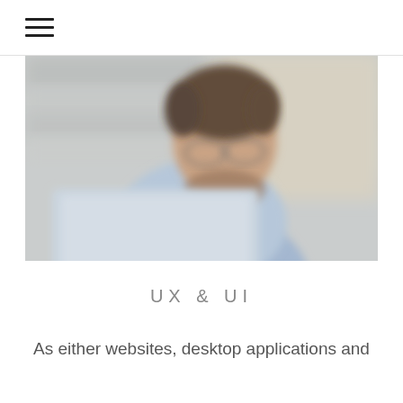≡
[Figure (photo): Blurred photo of a man with a beard and glasses wearing a light blue shirt, looking down at a laptop screen. Background is blurred with soft tones of blue, grey and beige.]
UX & UI
As either websites, desktop applications and